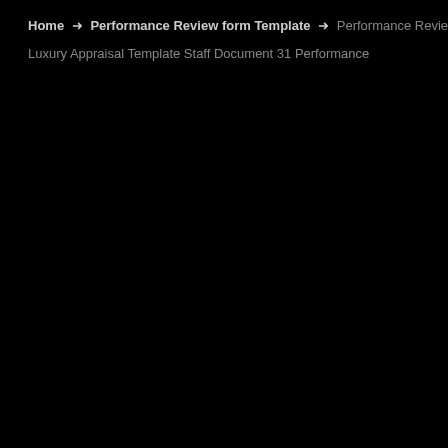Home → Performance Review form Template → Performance Review form Template
Luxury Appraisal Template Staff Document 31 Performance